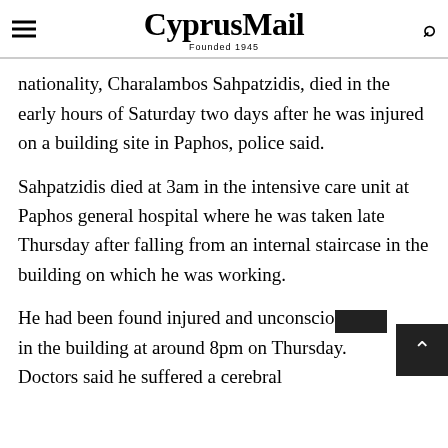CyprusMail — Founded 1945
nationality, Charalambos Sahpatzidis, died in the early hours of Saturday two days after he was injured on a building site in Paphos, police said.
Sahpatzidis died at 3am in the intensive care unit at Paphos general hospital where he was taken late Thursday after falling from an internal staircase in the building on which he was working.
He had been found injured and unconscious in the building at around 8pm on Thursday. Doctors said he suffered a cerebral